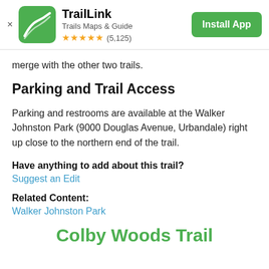TrailLink — Trails Maps & Guide — ★★★★★ (5,125) — Install App
merge with the other two trails.
Parking and Trail Access
Parking and restrooms are available at the Walker Johnston Park (9000 Douglas Avenue, Urbandale) right up close to the northern end of the trail.
Have anything to add about this trail?
Suggest an Edit
Related Content:
Walker Johnston Park
Colby Woods Trail